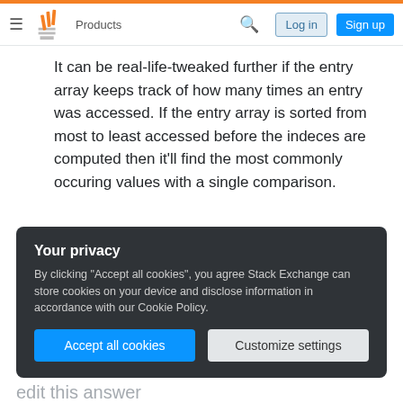Stack Overflow — Products | Log in | Sign up
It can be real-life-tweaked further if the entry array keeps track of how many times an entry was accessed. If the entry array is sorted from most to least accessed before the indeces are computed then it'll find the most commonly occuring values with a single comparison.
Share   Follow   edited May 23, 2017 at 12:32   Community Bot   1 ● 1
Your privacy
By clicking "Accept all cookies", you agree Stack Exchange can store cookies on your device and disclose information in accordance with our Cookie Policy.
Accept all cookies   Customize settings